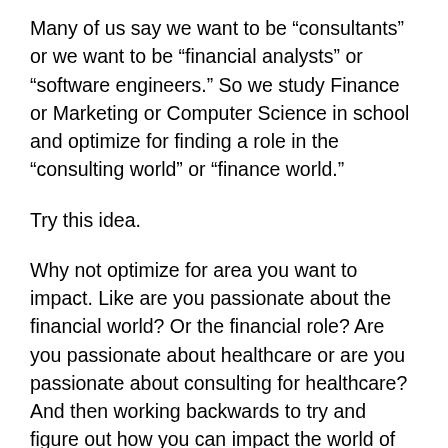Many of us say we want to be “consultants” or we want to be “financial analysts” or “software engineers.” So we study Finance or Marketing or Computer Science in school and optimize for finding a role in the “consulting world” or “finance world.”
Try this idea.
Why not optimize for area you want to impact. Like are you passionate about the financial world? Or the financial role? Are you passionate about healthcare or are you passionate about consulting for healthcare? And then working backwards to try and figure out how you can impact the world of healthcare…not necessarily by optimizing for the role of your job but rather the content of your work.
I think content is underratedly important and a big